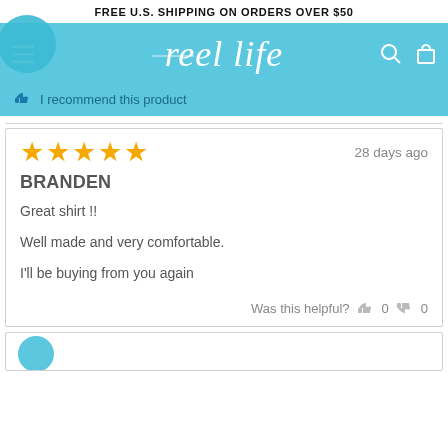FREE U.S. SHIPPING ON ORDERS OVER $50
[Figure (screenshot): ReelLife brand navigation bar with logo on sky blue background, hamburger menu on left, search and cart icons on right, with thumbs up recommendation icon and 'I recommend this product' text]
28 days ago
BRANDEN
Great shirt !!

Well made and very comfortable.

I'll be buying from you again
Was this helpful?  👍 0  👎 0